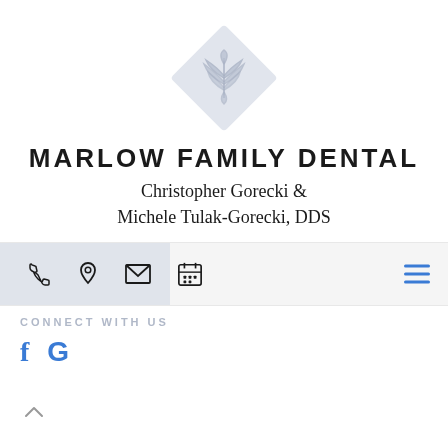[Figure (logo): Diamond-shaped floral/leaf logo in light periwinkle/lavender color for Marlow Family Dental]
MARLOW FAMILY DENTAL
Christopher Gorecki & Michele Tulak-Gorecki, DDS
[Figure (infographic): Navigation bar with phone, location pin, email envelope, and calendar icons, plus hamburger menu icon on right. Blue-tinted box overlay on left portion.]
CONNECT WITH US
[Figure (logo): Facebook 'f' and Google 'G' social media icons in blue]